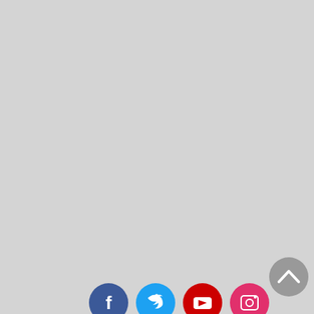[Figure (other): Gray background page with social media icons (Facebook, Twitter, YouTube, Instagram) at the bottom center, and a gray circular back-to-top arrow button in the lower right corner.]